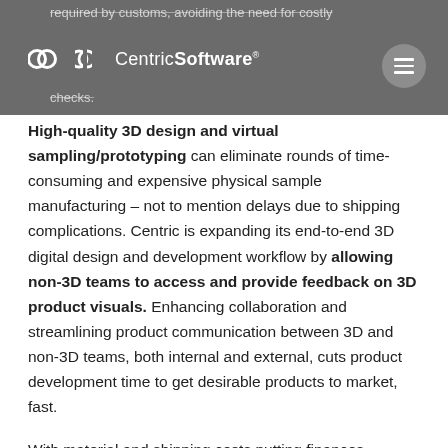required by customs, avoiding the need for costly … checks.
High-quality 3D design and virtual sampling/prototyping can eliminate rounds of time-consuming and expensive physical sample manufacturing – not to mention delays due to shipping complications. Centric is expanding its end-to-end 3D digital design and development workflow by allowing non-3D teams to access and provide feedback on 3D product visuals. Enhancing collaboration and streamlining product communication between 3D and non-3D teams, both internal and external, cuts product development time to get desirable products to market, fast.
With material and shipping costs putting finances